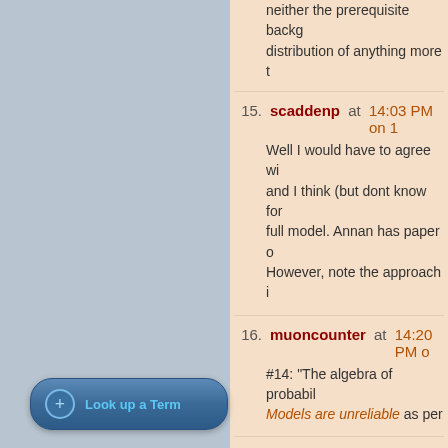neither the prerequisite backg... distribution of anything more t...
15. scaddenp at 14:03 PM on 1... Well I would have to agree wi... and I think (but dont know for... full model. Annan has paper o... However, note the approach i...
16. muoncounter at 14:20 PM ... #14: "The algebra of probabil... Models are unreliable as per ...
17. gpwayne at 15:43 PM on 14... Good to see this covered pro... predictive science, which can... nature of the problems we fac... are storing up great and disru...
18. SME at 17:13 PM on 14 Octo... As a "truth seeker" (that's a p... extremes :-))I found that com...
Look up a Term